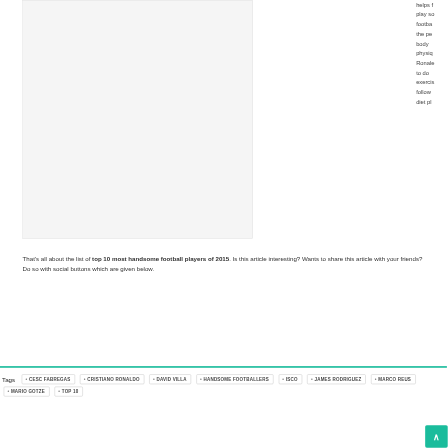[Figure (photo): Partial view of a photo/image box with light gray background, showing part of an article about handsome football players]
helps f play so footba the pe body physiq Ronale to do exercis follow diet pl
That’s all about the list of top 10 most handsome football players of 2015. Is this article interesting? Wants to share this article with your friends? Do so with social buttons which are given below.
Tags
CESC FABREGAS
CRISTIANO RONALDO
DAVID VILLA
HANDSOME FOOTBALLERS
ISCO
JAMES RODRIGUEZ
MARCO REUS
MARIO GOTZE
TOP 10